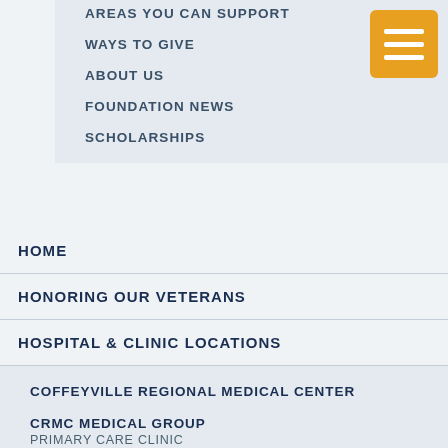AREAS YOU CAN SUPPORT
WAYS TO GIVE
ABOUT US
FOUNDATION NEWS
SCHOLARSHIPS
HOME
HONORING OUR VETERANS
HOSPITAL & CLINIC LOCATIONS
COFFEYVILLE REGIONAL MEDICAL CENTER
CRMC MEDICAL GROUP
PRIMARY CARE CLINIC
CRMC SPECIALIST CLINIC
A DEPARTMENT OF COFFEYVILLE REGIONAL MEDICAL CENTER